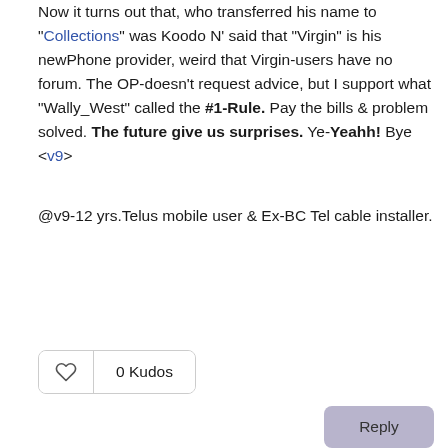Now it turns out that, who transferred his name to "Collections" was Koodo N' said that "Virgin" is his newPhone provider, weird that Virgin-users have no forum. The OP-doesn't request advice, but I support what "Wally_West" called the #1-Rule. Pay the bills & problem solved. The future give us surprises. Ye-Yeahh! Bye <v9>
@v9-12 yrs.Telus mobile user & Ex-BC Tel cable installer.